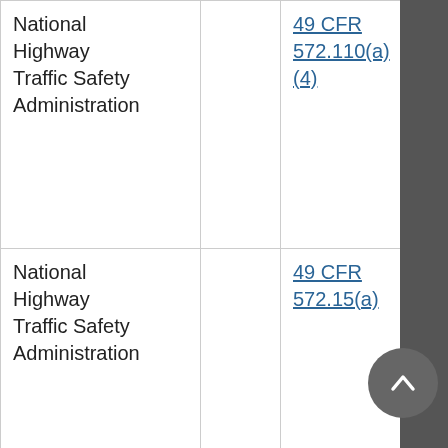| National Highway Traffic Safety Administration |  | 49 CFR 572.110(a)(4) | Drawing 96-SID... |
| National Highway Traffic Safety Administration |  | 49 CFR 572.15(a) | Drawing SA103... |
| National Highway Traffic Safety Administration |  | 49 CFR 572.15(b) | Drawing SA103... |